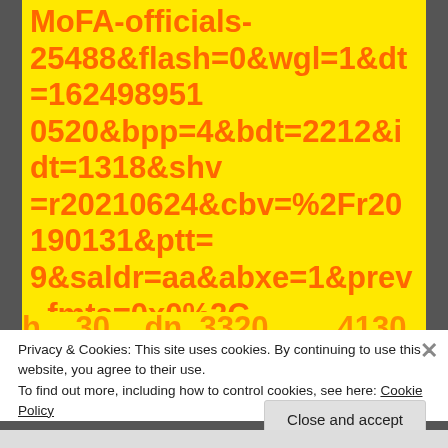MoFA-officials-25488&flash=0&wgl=1&dt=1624989510520&bpp=4&bdt=2212&idt=1318&shv=r20210624&cbv=%2Fr20190131&ptt=9&saldr=aa&abxe=1&prev_fmts=0x0%2C300x250%2C300x250%2C300x250&nras=1&correlator=4701758757670&frm=20&pv=1&ga_vid=1435732280.162489511&ga_sid=1624989511&ga_hid=1556846008&ga_fc=0&u_tz=0&u_his=1&u_...
Privacy & Cookies: This site uses cookies. By continuing to use this website, you agree to their use.
To find out more, including how to control cookies, see here: Cookie Policy
Close and accept